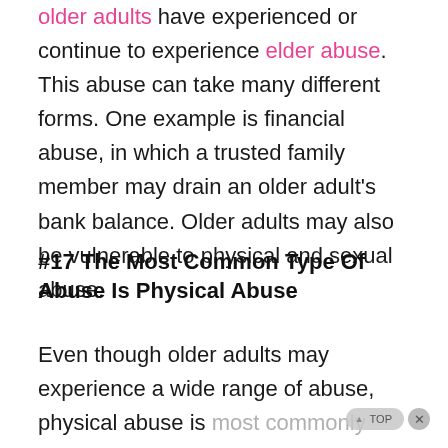older adults have experienced or continue to experience elder abuse. This abuse can take many different forms. One example is financial abuse, in which a trusted family member may drain an older adult's bank balance. Older adults may also be vulnerable to physical and sexual abuse.
#17 The Most Common Type Of Abuse Is Physical Abuse
Even though older adults may experience a wide range of abuse, physical abuse is most commonly experienced. Just under